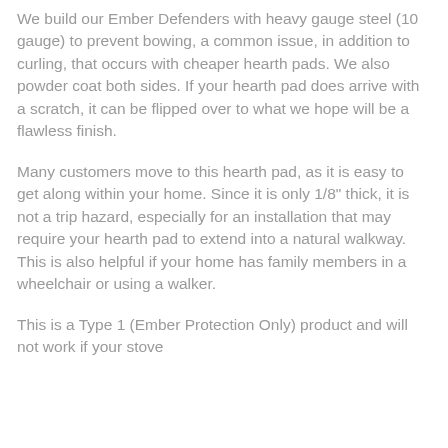We build our Ember Defenders with heavy gauge steel (10 gauge) to prevent bowing, a common issue, in addition to curling, that occurs with cheaper hearth pads. We also powder coat both sides. If your hearth pad does arrive with a scratch, it can be flipped over to what we hope will be a flawless finish.
Many customers move to this hearth pad, as it is easy to get along within your home. Since it is only 1/8" thick, it is not a trip hazard, especially for an installation that may require your hearth pad to extend into a natural walkway. This is also helpful if your home has family members in a wheelchair or using a walker.
This is a Type 1 (Ember Protection Only) product and will not work if your stove